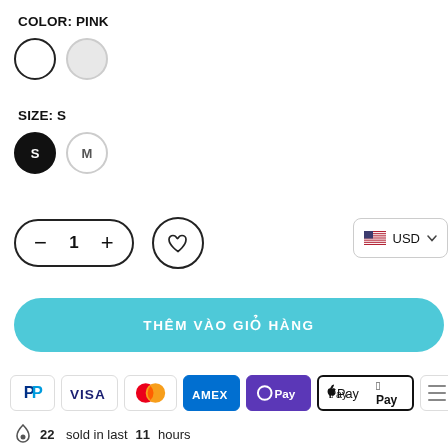COLOR: PINK
[Figure (other): Two color swatch circles: first with black border (selected), second with light gray fill and border]
SIZE: S
[Figure (other): Two size selector circles: S (black filled, selected) and M (light gray border, unselected)]
[Figure (other): Quantity control pill with minus, 1, plus buttons; heart/wishlist circle button; USD currency selector box with US flag]
[Figure (other): Teal/cyan rounded button with white bold text: THEM VAO GIO HANG]
[Figure (other): Payment method badges: PayPal, VISA, Mastercard, AMEX, OPay, Apple Pay, more]
22 sold in last 11 hours